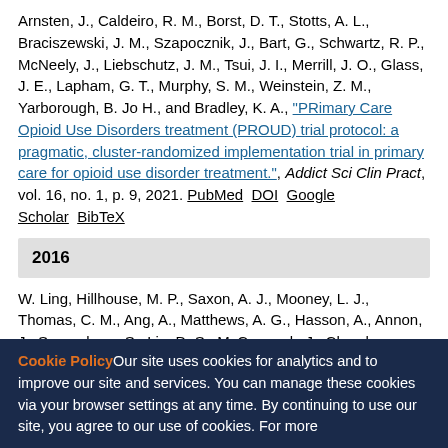Arnsten, J., Caldeiro, R. M., Borst, D. T., Stotts, A. L., Braciszewski, J. M., Szapocznik, J., Bart, G., Schwartz, R. P., McNeely, J., Liebschutz, J. M., Tsui, J. I., Merrill, J. O., Glass, J. E., Lapham, G. T., Murphy, S. M., Weinstein, Z. M., Yarborough, B. Jo H., and Bradley, K. A., "PRimary Care Opioid Use Disorders treatment (PROUD) trial protocol: a pragmatic, cluster-randomized implementation trial in primary care for opioid use disorder treatment.", Addict Sci Clin Pract, vol. 16, no. 1, p. 9, 2021. PubMed DOI Google Scholar BibTeX
2016
W. Ling, Hillhouse, M. P., Saxon, A. J., Mooney, L. J., Thomas, C. M., Ang, A., Matthews, A. G., Hasson, A., Annon, J., Sparenborg, S., Liu, D. S., McCormack, J., Church, S., Stafford, W., Renner, K., Salmon, C., Ponce, S., Wiest, ...
Cookie Policy Our site uses cookies for analytics and to improve our site and services. You can manage these cookies via your browser settings at any time. By continuing to use our site, you agree to our use of cookies. For more